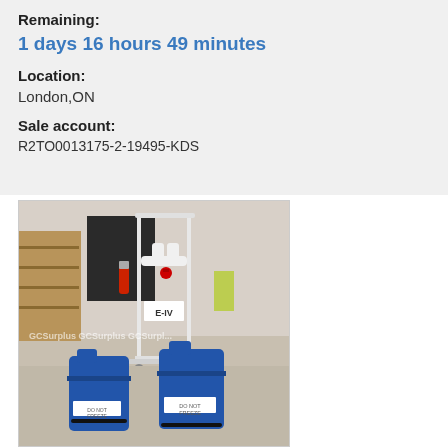Remaining: 1 days 16 hours 49 minutes
Location: London,ON
Sale account: R2TO0013175-2-19495-KDS
[Figure (photo): Photo of a white industrial cart labeled E-IV with piping and a red valve on top, and two blue plastic jerry cans in front labeled DO NOT FREEZE. Watermark reads GCSurplus. Background shows warehouse shelving and fire extinguisher.]